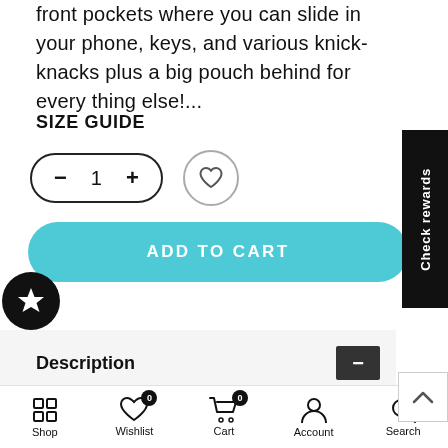front pockets where you can slide in your phone, keys, and various knick-knacks plus a big pouch behind for everything else!...
SIZE GUIDE
[Figure (screenshot): Quantity selector with minus, 1, plus buttons and a heart/wishlist circle button]
[Figure (screenshot): ADD TO CART teal/cyan button]
[Figure (screenshot): Star badge icon (black circle with white star)]
[Figure (screenshot): Check rewards vertical tab on right side]
Description
Our Barcelona bag has a simple design, created with the front pockets
Shop   Wishlist   Cart   Account   Search